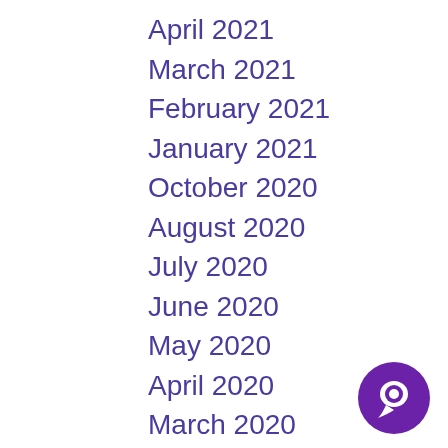April 2021
March 2021
February 2021
January 2021
October 2020
August 2020
July 2020
June 2020
May 2020
April 2020
March 2020
February 2020
January 2020
December 2019
November 2019
[Figure (logo): Purple circular chat bubble icon with white speech bubble cutout]